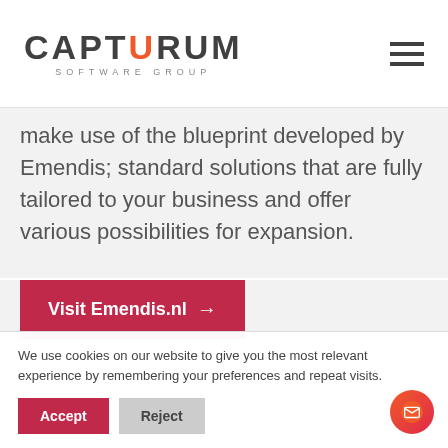CAPTURUM SOFTWARE GROUP
make use of the blueprint developed by Emendis; standard solutions that are fully tailored to your business and offer various possibilities for expansion.
Visit Emendis.nl →
We use cookies on our website to give you the most relevant experience by remembering your preferences and repeat visits.
Accept  Reject